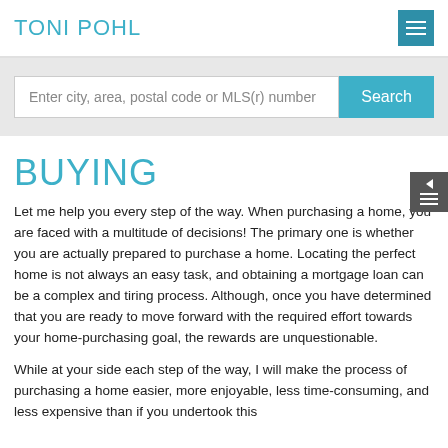TONI POHL
Enter city, area, postal code or MLS(r) number
BUYING
Let me help you every step of the way. When purchasing a home, you are faced with a multitude of decisions! The primary one is whether you are actually prepared to purchase a home. Locating the perfect home is not always an easy task, and obtaining a mortgage loan can be a complex and tiring process. Although, once you have determined that you are ready to move forward with the required effort towards your home-purchasing goal, the rewards are unquestionable.
While at your side each step of the way, I will make the process of purchasing a home easier, more enjoyable, less time-consuming, and less expensive than if you undertook this